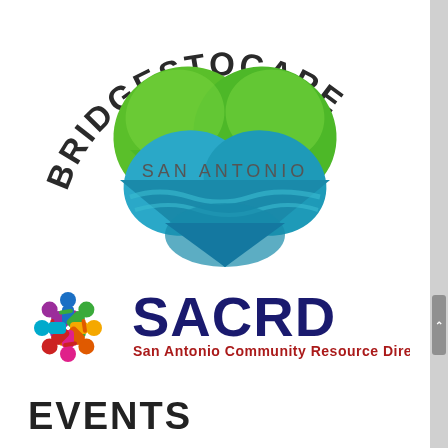[Figure (logo): Bridges to Care San Antonio logo — green heart shape on top, blue wavy shape on bottom forming a full heart, with arched text 'BRIDGESTOCARE' above and 'SAN ANTONIO' in the middle]
[Figure (logo): SACRD San Antonio Community Resource Directory logo — colorful pinwheel of people figures on left, bold dark blue 'SACRD' text on right, with subtitle 'San Antonio Community Resource Directory' in dark red/maroon below]
EVENTS